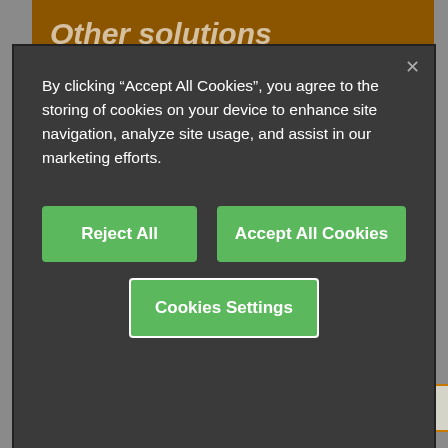Other solutions
By clicking “Accept All Cookies”, you agree to the storing of cookies on your device to enhance site navigation, analyze site usage, and assist in our marketing efforts.
Reject All
Accept All Cookies
Cookies Settings
ECLM-HD, igubal®
For high axial and radial loads, dimensional series E
from £ 5.53/Pc.
Chat Now